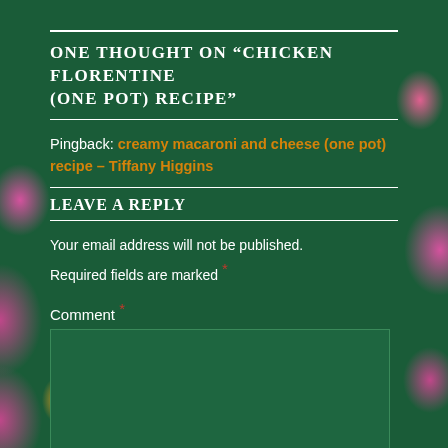ONE THOUGHT ON "CHICKEN FLORENTINE (ONE POT) RECIPE"
Pingback: creamy macaroni and cheese (one pot) recipe – Tiffany Higgins
LEAVE A REPLY
Your email address will not be published. Required fields are marked *
Comment *